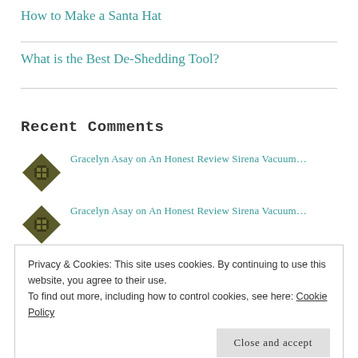How to Make a Santa Hat
What is the Best De-Shedding Tool?
Recent Comments
Gracelyn Asay on An Honest Review Sirena Vacuum...
Gracelyn Asay on An Honest Review Sirena Vacuum...
Privacy & Cookies: This site uses cookies. By continuing to use this website, you agree to their use.
To find out more, including how to control cookies, see here: Cookie Policy
Close and accept